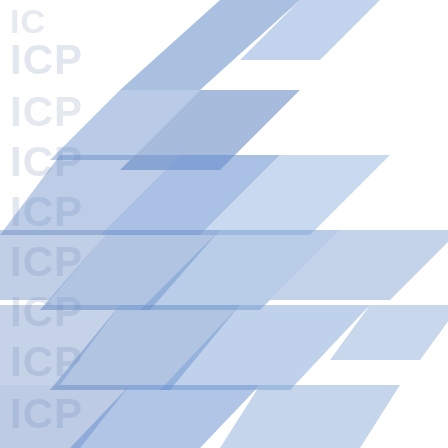[Figure (illustration): Left panel with ICP watermark text repeated in light gray, overlaid with blue chevron/zigzag decorative stripe pattern]
Padua, AGAIN what Guterres and his cons General Counsel now acknowledged and sa case number? "Weich Mr. Lee,  I acknowled Case: UNAT/2020/15 We received an Appe (NY/2020) and 179 ( Lee on 21 December a staff member nor a Applicant filed an ap with the Appeals Trib accepted the submiss they be transmitted to proceedings, and the comments within 30